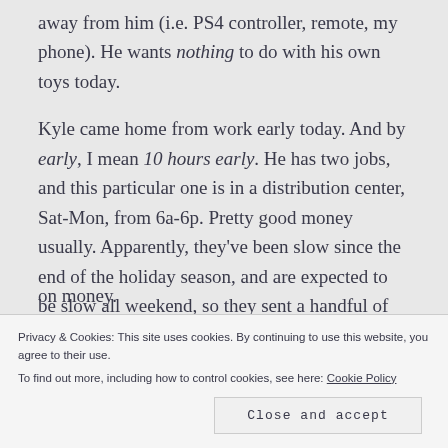away from him (i.e. PS4 controller, remote, my phone). He wants nothing to do with his own toys today.
Kyle came home from work early today. And by early, I mean 10 hours early. He has two jobs, and this particular one is in a distribution center, Sat-Mon, from 6a-6p. Pretty good money usually. Apparently, they've been slow since the end of the holiday season, and are expected to be slow all weekend, so they sent a handful of people
on money.
Privacy & Cookies: This site uses cookies. By continuing to use this website, you agree to their use.
To find out more, including how to control cookies, see here: Cookie Policy